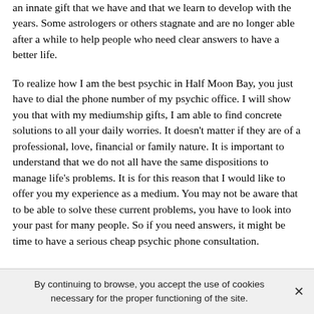an innate gift that we have and that we learn to develop with the years. Some astrologers or others stagnate and are no longer able after a while to help people who need clear answers to have a better life.
To realize how I am the best psychic in Half Moon Bay, you just have to dial the phone number of my psychic office. I will show you that with my mediumship gifts, I am able to find concrete solutions to all your daily worries. It doesn't matter if they are of a professional, love, financial or family nature. It is important to understand that we do not all have the same dispositions to manage life's problems. It is for this reason that I would like to offer you my experience as a medium. You may not be aware that to be able to solve these current problems, you have to look into your past for many people. So if you need answers, it might be time to have a serious cheap psychic phone consultation.
By continuing to browse, you accept the use of cookies necessary for the proper functioning of the site.